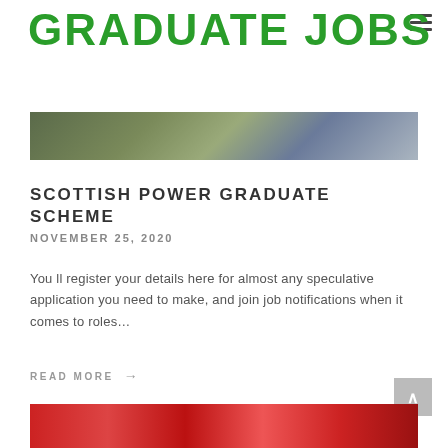GRADUATE JOBS
[Figure (photo): Hero image showing person holding industrial/mechanical equipment, muted green and grey tones]
SCOTTISH POWER GRADUATE SCHEME
NOVEMBER 25, 2020
You ll register your details here for almost any speculative application you need to make, and join job notifications when it comes to roles…
READ MORE →
[Figure (photo): Bottom banner image showing crowd of people in red, partially visible]